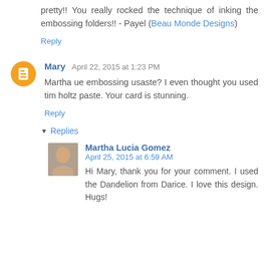pretty!! You really rocked the technique of inking the embossing folders!! - Payel (Beau Monde Designs)
Reply
Mary April 22, 2015 at 1:23 PM
Martha ue embossing usaste? I even thought you used tim holtz paste. Your card is stunning.
Reply
Replies
Martha Lucia Gomez April 25, 2015 at 6:59 AM
Hi Mary, thank you for your comment. I used the Dandelion from Darice. I love this design. Hugs!